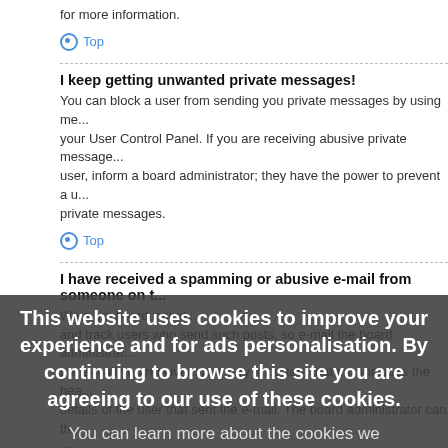for more information.
Top
I keep getting unwanted private messages!
You can block a user from sending you private messages by using me... your User Control Panel. If you are receiving abusive private message... user, inform a board administrator; they have the power to prevent a u... private messages.
Top
I have received a spamming or abusive e-mail from someone on t...
We a...rs board includ... and track users who send such posts, so e-mail the board administrat... the e-mail you received. It is very important that this includes the hea... details of the user that sent the e-mail. The board administrator can th...
Top
Friends and Foes
What are my Friends and Foes lists?
You can use these lists to or...ise other members of the board. Mem... friends list will be listed within your User Control Panel for quick acces... status and to send them private messages. Subject to template supp...
[Figure (screenshot): Cookie consent overlay with text: 'This website uses cookies to improve your experience and for ads personalisation. By continuing to browse this site you are agreeing to our use of these cookies. You can learn more about the cookies we use here.' with OK button and Friends and Foes link.]